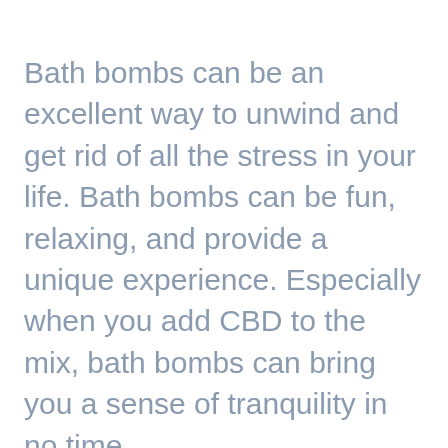Bath bombs can be an excellent way to unwind and get rid of all the stress in your life. Bath bombs can be fun, relaxing, and provide a unique experience. Especially when you add CBD to the mix, bath bombs can bring you a sense of tranquility in no time.
Hollyweed has a wide range of CBD bath bombs with five scents available: Peppermint Ora, Citrus Obsession, Lavender Awaken, Tropical Oasis, and Lemongrass Dream. Each bath bomb contains 100 mg of CBD with other all natural